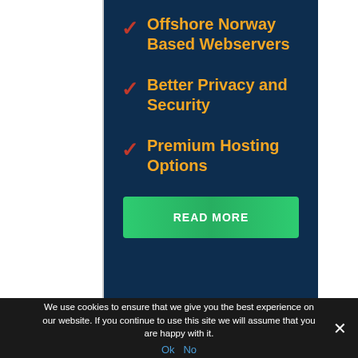Offshore Norway Based Webservers
Better Privacy and Security
Premium Hosting Options
READ MORE
Recent Posts
We use cookies to ensure that we give you the best experience on our website. If you continue to use this site we will assume that you are happy with it. Ok  No